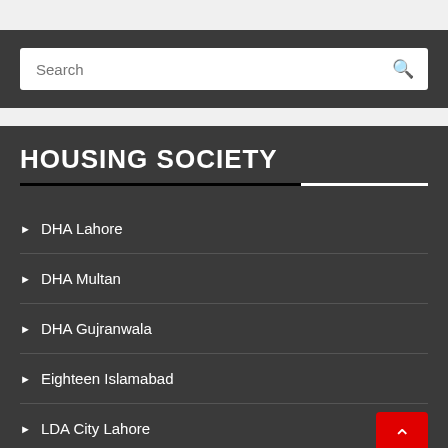[Figure (screenshot): Search bar with magnifying glass icon on dark background]
HOUSING SOCIETY
DHA Lahore
DHA Multan
DHA Gujranwala
Eighteen Islamabad
LDA City Lahore